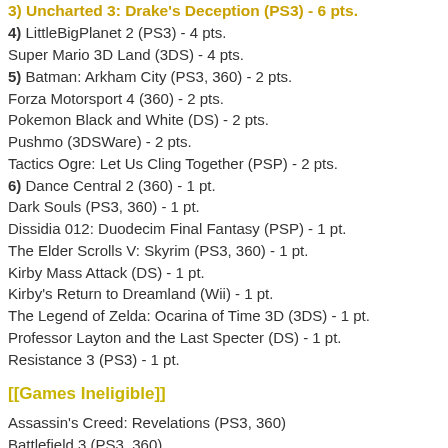3) Uncharted 3: Drake's Deception (PS3) - 6 pts.
4) LittleBigPlanet 2 (PS3) - 4 pts.
Super Mario 3D Land (3DS) - 4 pts.
5) Batman: Arkham City (PS3, 360) - 2 pts.
Forza Motorsport 4 (360) - 2 pts.
Pokemon Black and White (DS) - 2 pts.
Pushmo (3DSWare) - 2 pts.
Tactics Ogre: Let Us Cling Together (PSP) - 2 pts.
6) Dance Central 2 (360) - 1 pt.
Dark Souls (PS3, 360) - 1 pt.
Dissidia 012: Duodecim Final Fantasy (PSP) - 1 pt.
The Elder Scrolls V: Skyrim (PS3, 360) - 1 pt.
Kirby Mass Attack (DS) - 1 pt.
Kirby's Return to Dreamland (Wii) - 1 pt.
The Legend of Zelda: Ocarina of Time 3D (3DS) - 1 pt.
Professor Layton and the Last Specter (DS) - 1 pt.
Resistance 3 (PS3) - 1 pt.
[[Games Ineligible]]
Assassin's Creed: Revelations (PS3, 360)
Battlefield 3 (PS3, 360)
Deus Ex: Human Revolution (PS3, 360)